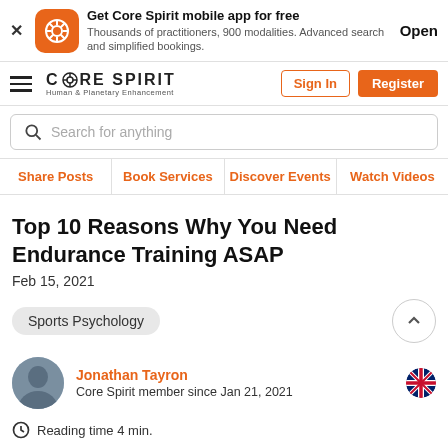Get Core Spirit mobile app for free — Thousands of practitioners, 900 modalities. Advanced search and simplified bookings. Open
[Figure (logo): Core Spirit logo with hamburger menu, Sign In and Register buttons]
Search for anything
Share Posts | Book Services | Discover Events | Watch Videos
Top 10 Reasons Why You Need Endurance Training ASAP
Feb 15, 2021
Sports Psychology
Jonathan Tayron
Core Spirit member since Jan 21, 2021
Reading time 4 min.